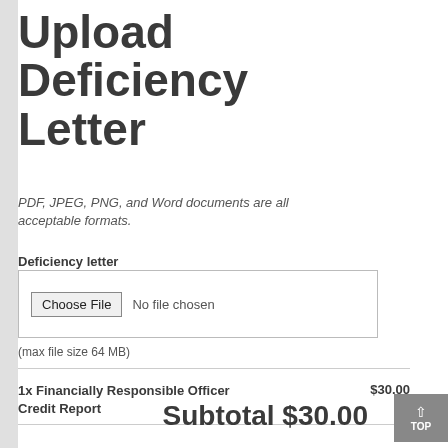Upload Deficiency Letter
PDF, JPEG, PNG, and Word documents are all acceptable formats.
Deficiency letter
[Figure (screenshot): File input control showing 'Choose File' button and 'No file chosen' text]
(max file size 64 MB)
1x Financially Responsible Officer Credit Report	$30.00
Subtotal $30.00